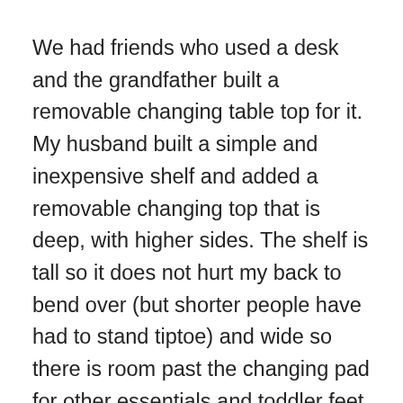We had friends who used a desk and the grandfather built a removable changing table top for it. My husband built a simple and inexpensive shelf and added a removable changing top that is deep, with higher sides. The shelf is tall so it does not hurt my back to bend over (but shorter people have had to stand tiptoe) and wide so there is room past the changing pad for other essentials and toddler feet. He also cut out holes to run straps from the changing pad to help secure it down. I picked out baskets before he built it and my husband designed the shelves to accommodate those. We have used the shelves to store diapers, blankets, burp cloths, toys, etc. It